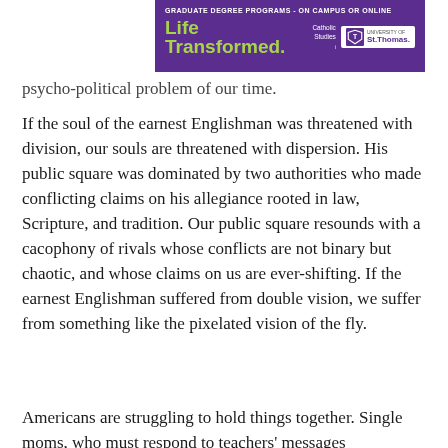[Figure (other): Advertisement banner for University of St. Thomas graduate degree programs. Purple background with text: GRADUATE DEGREE PROGRAMS - ON CAMPUS OR ONLINE, Life Transformed., Catholic Studies | St. Thomas logo]
psycho-political problem of our time.
If the soul of the earnest Englishman was threatened with division, our souls are threatened with dispersion. His public square was dominated by two authorities who made conflicting claims on his allegiance rooted in law, Scripture, and tradition. Our public square resounds with a cacophony of rivals whose conflicts are not binary but chaotic, and whose claims on us are ever-shifting. If the earnest Englishman suffered from double vision, we suffer from something like the pixelated vision of the fly.
Americans are struggling to hold things together. Single moms, who must respond to teachers' messages